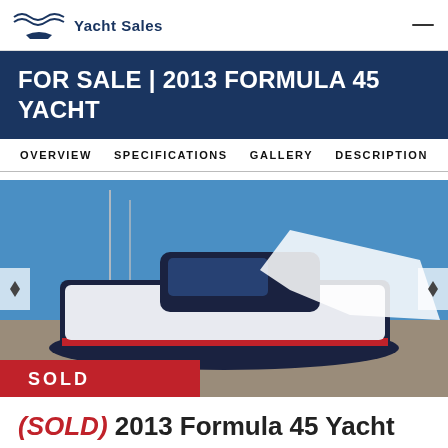Yacht Sales
FOR SALE | 2013 FORMULA 45 YACHT
OVERVIEW  SPECIFICATIONS  GALLERY  DESCRIPTION
[Figure (photo): A 2013 Formula 45 Yacht on land/in storage yard with white cover partially on, blue sky background, with a red and white SOLD banner overlay in the bottom left corner.]
(SOLD) 2013 Formula 45 Yacht